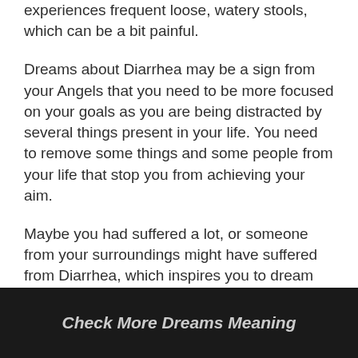experiences frequent loose, watery stools, which can be a bit painful.
Dreams about Diarrhea may be a sign from your Angels that you need to be more focused on your goals as you are being distracted by several things present in your life. You need to remove some things and some people from your life that stop you from achieving your aim.
Maybe you had suffered a lot, or someone from your surroundings might have suffered from Diarrhea, which inspires you to dream this dream.
Check More Dreams Meaning